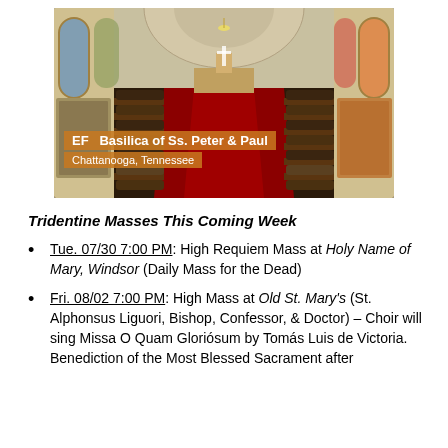[Figure (photo): Interior of the Basilica of Ss. Peter & Paul in Chattanooga, Tennessee, packed with congregants during a Tridentine Mass. The Gothic-style church features arched ceilings, stained glass windows, and a red-carpeted center aisle leading to the altar. An orange overlay banner reads 'EF Basilica of Ss. Peter & Paul Chattanooga, Tennessee'.]
Tridentine Masses This Coming Week
Tue. 07/30 7:00 PM: High Requiem Mass at Holy Name of Mary, Windsor (Daily Mass for the Dead)
Fri. 08/02 7:00 PM: High Mass at Old St. Mary's (St. Alphonsus Liguori, Bishop, Confessor, & Doctor) – Choir will sing Missa O Quam Gloriósum by Tomás Luis de Victoria. Benediction of the Most Blessed Sacrament after